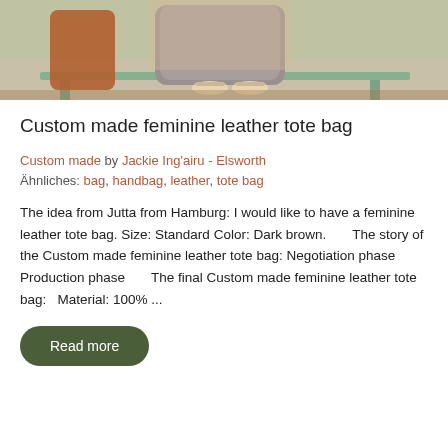[Figure (photo): Photo of a person sitting on a wooden bench outdoors, holding a large gray bag on their lap. A brown leather bag is visible to the left. The person is wearing sandals.]
Custom made feminine leather tote bag
Custom made by Jackie Ing'airu - Elsworth
Ähnliches: bag, handbag, leather, tote bag
The idea from Jutta from Hamburg: I would like to have a feminine leather tote bag. Size: Standard Color: Dark brown.       The story of the Custom made feminine leather tote bag: Negotiation phase       Production phase       The final Custom made feminine leather tote bag:   Material: 100% ...
Read more